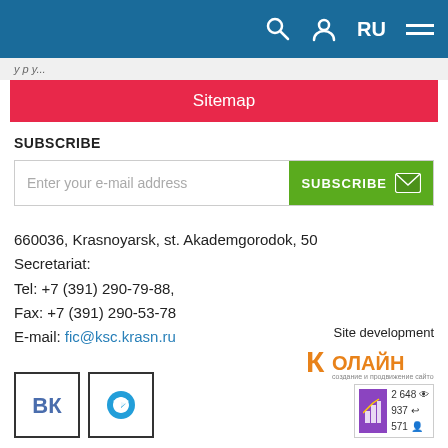Navigation bar with search, user, RU language, and hamburger menu
Sitemap
SUBSCRIBE
Enter your e-mail address [SUBSCRIBE button]
660036, Krasnoyarsk, st. Akademgorodok, 50
Secretariat:
Tel: +7 (391) 290-79-88,
Fax: +7 (391) 290-53-78
E-mail: fic@ksc.krasn.ru
Site development
[Figure (logo): Колайн (Kolain) site development company logo with orange K and orange text]
[Figure (infographic): Statistics badge showing 2648 views, 937 entries, 571 users with purple bar chart icon]
[Figure (logo): VK social network icon in square border]
[Figure (logo): Telegram icon in square border]